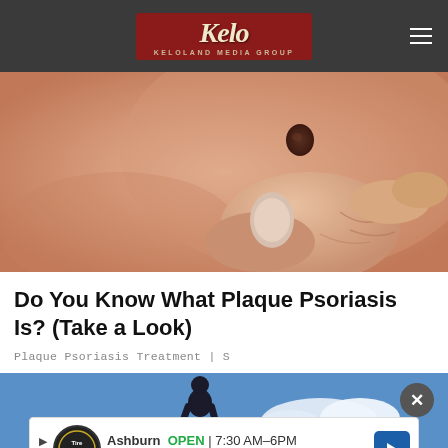KELOLAND MEDIA GROUP
[Figure (photo): Close-up photo of a hand touching skin with a dark mole/lesion, illustrating plaque psoriasis]
Do You Know What Plaque Psoriasis Is? (Take a Look)
Plaque Psoriasis Treatment | S
[Figure (photo): Photo of a person running outdoors against a blue sky background]
[Figure (infographic): Advertisement banner for Tire Auto Ashburn: OPEN 7:30 AM–6PM, 43781 Parkhurst Plaza, Ashburn]